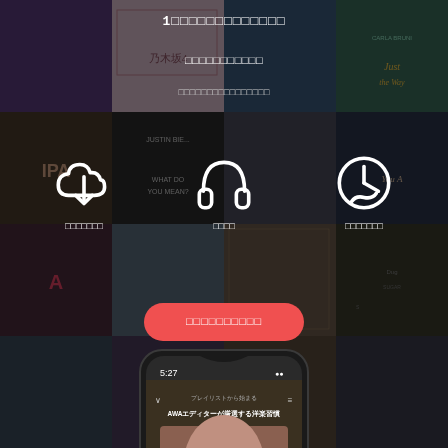[Figure (screenshot): Music streaming app promotional page with album art grid background, three feature icons (download, headphones, history), CTA button, and phone mockup showing app interface]
1□□□□□□□□□□□□□
□□□□□□□□□□□
□□□□□□□□□□□□□□□□
□□□□□□□ / □□□□ / □□□□□□□
□□□□□□□□□□
[Figure (screenshot): iPhone X mockup showing music app with playlist screen - AWAエディターが厳選する洋楽習慣 - and Taylor Swift album art]